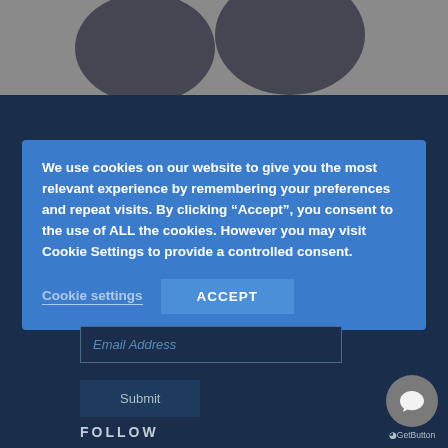[Figure (screenshot): Top gray banner area with partial dark image elements visible at top]
We use cookies on our website to give you the most relevant experience by remembering your preferences and repeat visits. By clicking “Accept”, you consent to the use of ALL the cookies. However you may visit Cookie Settings to provide a controlled consent.
Cookie settings
ACCEPT
Email Address
Submit
FOLLOW
[Figure (illustration): GetButton chat widget circle with speech bubble icon and GetButton label]